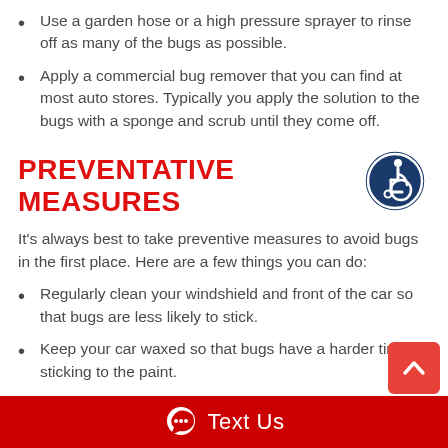Use a garden hose or a high pressure sprayer to rinse off as many of the bugs as possible.
Apply a commercial bug remover that you can find at most auto stores. Typically you apply the solution to the bugs with a sponge and scrub until they come off.
PREVENTATIVE MEASURES
It's always best to take preventive measures to avoid bugs in the first place. Here are a few things you can do:
Regularly clean your windshield and front of the car so that bugs are less likely to stick.
Keep your car waxed so that bugs have a harder time sticking to the paint.
[Figure (logo): Accessibility icon - blue circular badge with wheelchair user symbol]
[Figure (other): Scroll to top button - red rounded square with white upward chevron arrow]
Text Us